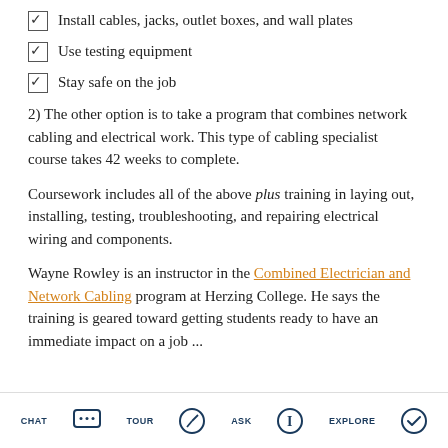Install cables, jacks, outlet boxes, and wall plates
Use testing equipment
Stay safe on the job
2) The other option is to take a program that combines network cabling and electrical work. This type of cabling specialist course takes 42 weeks to complete.
Coursework includes all of the above plus training in laying out, installing, testing, troubleshooting, and repairing electrical wiring and components.
Wayne Rowley is an instructor in the Combined Electrician and Network Cabling program at Herzing College. He says the training is geared toward getting students ready to have an immediate impact on a job ...
CHAT  TOUR  ASK  EXPLORE